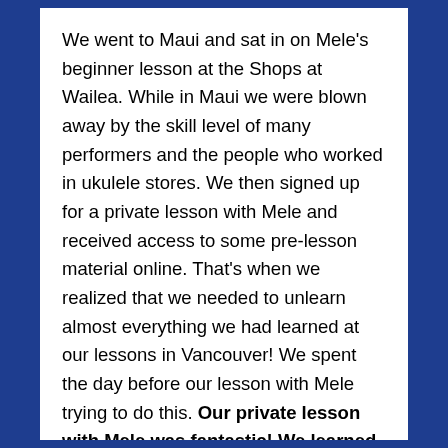We went to Maui and sat in on Mele's beginner lesson at the Shops at Wailea. While in Maui we were blown away by the skill level of many performers and the people who worked in ukulele stores. We then signed up for a private lesson with Mele and received access to some pre-lesson material online. That's when we realized that we needed to unlearn almost everything we had learned at our lessons in Vancouver! We spent the day before our lesson with Mele trying to do this. Our private lesson with Mele was fantastic! We learned more in 45-minutes with her than we'd learned in ten 90-minute lessons at home! Mele's an accomplished entertainer but the focus of her lesson was on teaching us, she's a professional